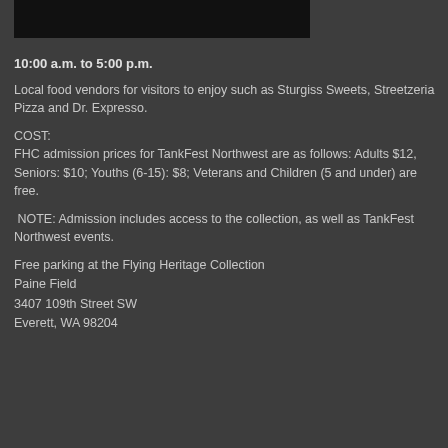[Figure (photo): Black rectangle image at the top left of the page]
10:00 a.m. to 5:00 p.m.
Local food vendors for visitors to enjoy such as Sturgiss Sweets, Streetzeria Pizza and Dr. Expresso.
COST:
FHC admission prices for TankFest Northwest are as follows: Adults $12, Seniors: $10; Youths (6-15): $8; Veterans and Children (5 and under) are free.
NOTE: Admission includes access to the collection, as well as TankFest Northwest events.
Free parking at the Flying Heritage Collection
Paine Field
3407 109th Street SW
Everett, WA 98204